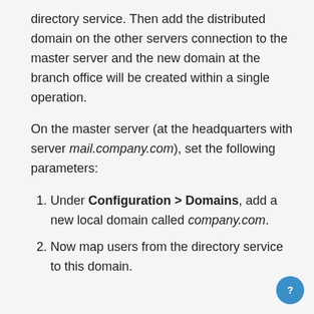directory service. Then add the distributed domain on the other servers connection to the master server and the new domain at the branch office will be created within a single operation.
On the master server (at the headquarters with server mail.company.com), set the following parameters:
Under Configuration > Domains, add a new local domain called company.com.
Now map users from the directory service to this domain.